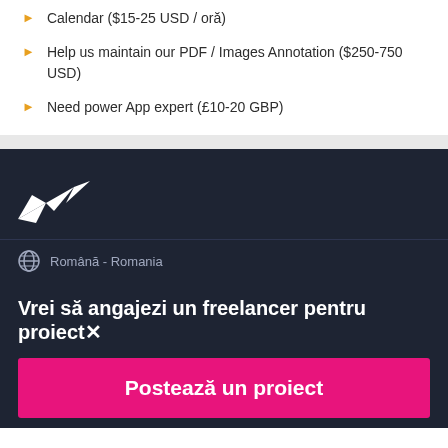Calendar ($15-25 USD / oră)
Help us maintain our PDF / Images Annotation ($250-750 USD)
Need power App expert (£10-20 GBP)
[Figure (logo): Freelancer.com bird logo in white on dark background]
Română - Romania
Vrei să angajezi un freelancer pentru proiect×
Postează un proiect